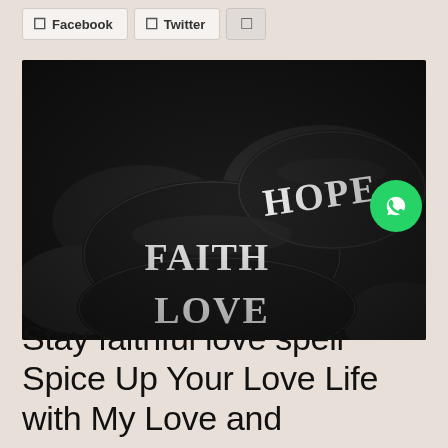Facebook | Twitter | [share]
[Figure (photo): Photograph of dark river stones with the words FAITH, HOPE, and LOVE painted in white on three separate stones. A WhatsApp icon button is overlaid in the top-right corner of the image.]
Stay faithful love spell Spice Up Your Love Life with My Love and